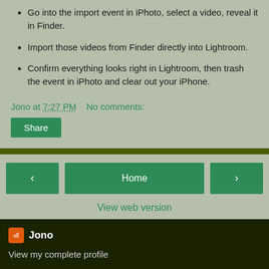Go into the import event in iPhoto, select a video, reveal it in Finder.
Import those videos from Finder directly into Lightroom.
Confirm everything looks right in Lightroom, then trash the event in iPhoto and clear out your iPhone.
Jono at 7:27 PM   No comments:
Share
Home
View web version
Jono
View my complete profile
Powered by Blogger.